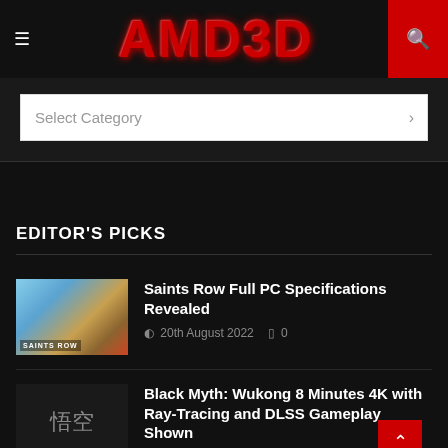AMD3D
Select Category
EDITOR'S PICKS
[Figure (photo): Saints Row game thumbnail showing stylized game art with characters and colorful sky]
Saints Row Full PC Specifications Revealed
20th August 2022  0
[Figure (photo): Black Myth: Wukong game thumbnail showing Chinese characters on dark background]
Black Myth: Wukong 8 Minutes 4K with Ray-Tracing and DLSS Gameplay Shown